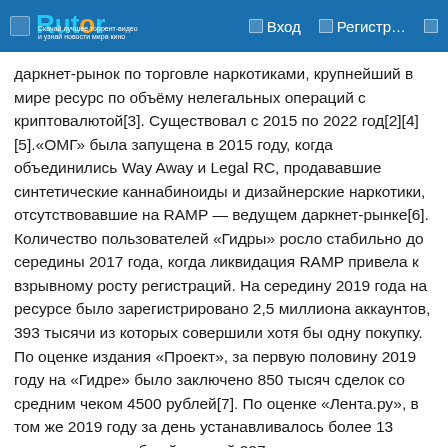Rutor — Вход — Регистр…
даркнет-рынок по торговле наркотиками, крупнейший в мире ресурс по объёму нелегальных операций с криптовалютой[3]. Существовал с 2015 по 2022 год[2][4][5].«ОМГ» была запущена в 2015 году, когда объединились Way Away и Legal RC, продававшие синтетические каннабиноиды и дизайнерские наркотики, отсутствовавшие на RAMP — ведущем даркнет-рынке[6]. Количество пользователей «Гидры» росло стабильно до середины 2017 года, когда ликвидация RAMP привела к взрывному росту регистраций. На середину 2019 года на ресурсе было зарегистрировано 2,5 миллиона аккаунтов, 393 тысячи из которых совершили хотя бы одну покупку. По оценке издания «Проект», за первую половину 2019 году на «Гидре» было заключено 850 тысяч сделок со средним чеком 4500 рублей[7]. По оценке «Лента.ру», в том же 2019 году за день устанавливалось более 13 тысяч закладок общей суммой 227 миллионов рублей[8].Кроме наркотиков популярными товарами на «Гидре» являлись фальшивые деньги и документы, инструкции по противозаконной